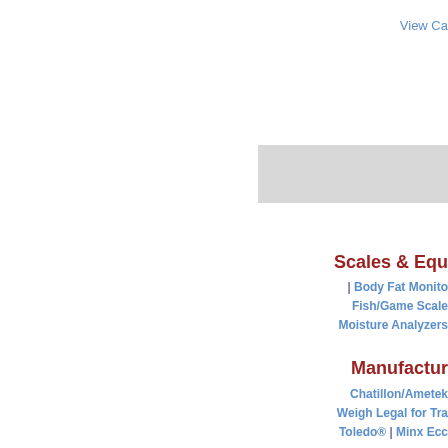View Ca...
[Figure (other): Gray placeholder/banner box in the upper right area]
Scales & Equ...
| Body Fat Monitor... Fish/Game Scale... Moisture Analyzers...
Manufactur...
Chatillon/Ametek... Weigh Legal for Tr... Toledo® | Minx Ecc...